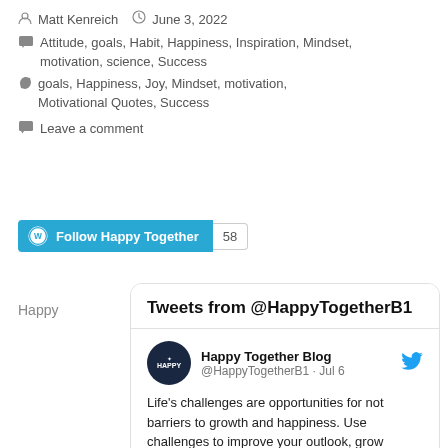Matt Kenreich   June 3, 2022
Attitude, goals, Habit, Happiness, Inspiration, Mindset, motivation, science, Success
goals, Happiness, Joy, Mindset, motivation, Motivational Quotes, Success
Leave a comment
Follow Happy Together  58
Happy
[Figure (screenshot): Twitter widget showing @HappyTogetherB1 tweet: 'Life's challenges are opportunities for not barriers to growth and happiness. Use challenges to improve your outlook, grow resilience, and boost confidence that leads to...' with Happy Together Blog profile.]